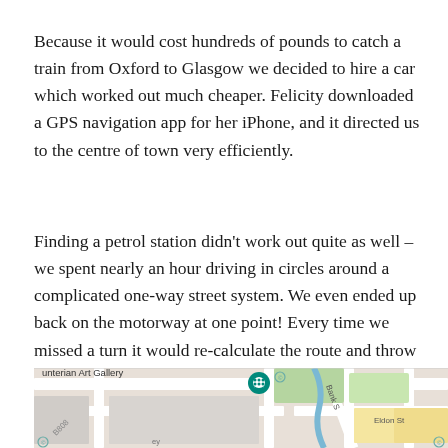Because it would cost hundreds of pounds to catch a train from Oxford to Glasgow we decided to hire a car which worked out much cheaper. Felicity downloaded a GPS navigation app for her iPhone, and it directed us to the centre of town very efficiently.
Finding a petrol station didn't work out quite as well – we spent nearly an hour driving in circles around a complicated one-way street system. We even ended up back on the motorway at one point! Every time we missed a turn it would re-calculate the route and throw us into ever greater confusion.
[Figure (map): A Google Maps screenshot showing the area around Hunterian Art Gallery in Glasgow, with streets including Bank Street and Eldon St visible, a teal map pin marker, and green park areas.]